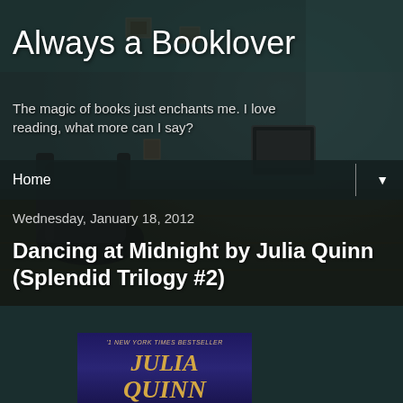[Figure (photo): Dark moody room background with leather chair, old TV, wooden floor, and framed pictures on wall — used as blog header image]
Always a Booklover
The magic of books just enchants me. I love reading, what more can I say?
Home
Wednesday, January 18, 2012
Dancing at Midnight by Julia Quinn (Splendid Trilogy #2)
[Figure (photo): Book cover for Dancing at Midnight by Julia Quinn — dark blue cover with golden Julia Quinn author name text, labeled '#1 New York Times Bestseller']